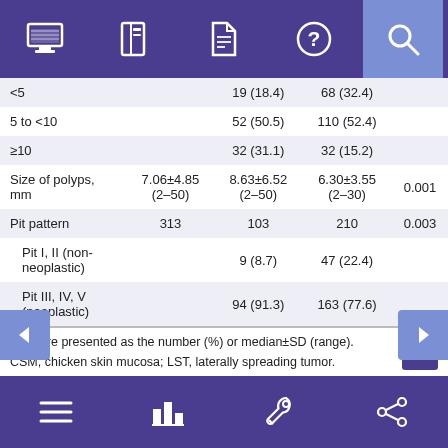Navigation bar with icons: monitor, book, document, question mark, search
|  |  |  |  |  |
| --- | --- | --- | --- | --- |
| <5 |  | 19 (18.4) | 68 (32.4) |  |
| 5 to <10 |  | 52 (50.5) | 110 (52.4) |  |
| ≥10 |  | 32 (31.1) | 32 (15.2) |  |
| Size of polyps, mm | 7.06±4.85 (2–50) | 8.63±6.52 (2–50) | 6.30±3.55 (2–30) | 0.001 |
| Pit pattern | 313 | 103 | 210 | 0.003 |
| Pit I, II (non-neoplastic) |  | 9 (8.7) | 47 (22.4) |  |
| Pit III, IV, V (neoplastic) |  | 94 (91.3) | 163 (77.6) |  |
Data are presented as the number (%) or median±SD (range).
CSM, chicken skin mucosa; LST, laterally spreading tumor.
Bottom navigation bar with icons: menu, bar chart, wrench, share